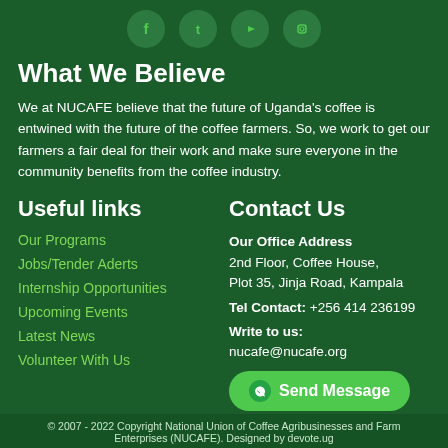[Figure (illustration): Four social media icons (Facebook, Twitter, YouTube, Instagram) in circular green buttons, centered at top]
What We Believe
We at NUCAFE believe that the future of Uganda's coffee is entwined with the future of the coffee farmers. So, we work to get our farmers a fair deal for their work and make sure everyone in the community benefits from the coffee industry.
Useful links
Our Programs
Jobs/Tender Aderts
Internship Opportunities
Upcoming Events
Latest News
Volunteer With Us
Contact Us
Our Office Address
2nd Floor, Coffee House, Plot 35, Jinja Road, Kampala
Tel Contact: +256 414 236199
Write to us:
nucafe@nucafe.org
[Figure (illustration): Green WhatsApp-style Send Message button with WhatsApp icon]
© 2007 - 2022 Copyright National Union of Coffee Agribusinesses and Farm Enterprises (NUCAFE). Designed by devote.ug